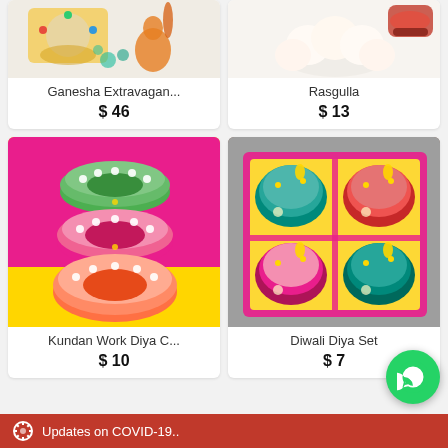[Figure (photo): Ganesha Extravaganza product photo - decorative item with candle and figurine]
Ganesha Extravagan...
$ 46
[Figure (photo): Rasgulla product photo - decorative/sweet item]
Rasgulla
$ 13
[Figure (photo): Kundan Work Diya C... - stacked colorful bangles/diyas in green, pink, orange]
Kundan Work Diya C...
$ 10
[Figure (photo): Diwali Diya Set - four decorated diyas in a pink gift box]
Diwali Diya Set
$ 7
Updates on COVID-19..